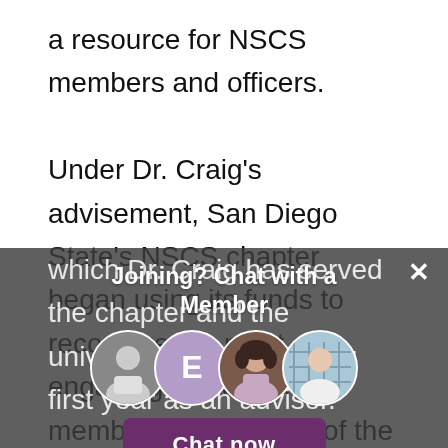a resource for NSCS members and officers.

Under Dr. Craig's advisement, San Diego State's NSCS chapter began using its funds to recognize the most engaging officers and members. This is one of the many ways in which Dr. Craig has served the chapter and the university well during her first year as an advisor.

Dr. Cr... by Kealani Turingan, who cited her strong leadership and ...pport and dedication as the reason for nomination. In addition, Ashley Jackson, the Chapter
[Figure (screenshot): A chat widget overlay on a darkened background showing 'Joining? Chat with a Member' with four avatar circles (a man, a purple circle with E, a woman with curly hair, a woman outdoors) and a dark magenta 'Chat now' button. A white X close button appears in the top right.]